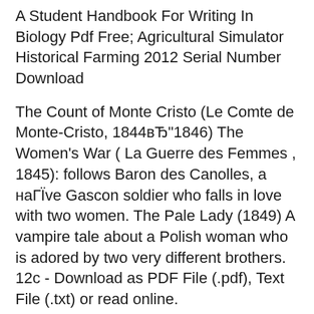A Student Handbook For Writing In Biology Pdf Free; Agricultural Simulator Historical Farming 2012 Serial Number Download
The Count of Monte Cristo (Le Comte de Monte-Cristo, 1844вЂ"1846) The Women's War ( La Guerre des Femmes , 1845): follows Baron des Canolles, a naГЇve Gascon soldier who falls in love with two women. The Pale Lady (1849) A vampire tale about a Polish woman who is adored by two very different brothers. 12c - Download as PDF File (.pdf), Text File (.txt) or read online.
9/05/2012В В· Jim Caviezel and Guy